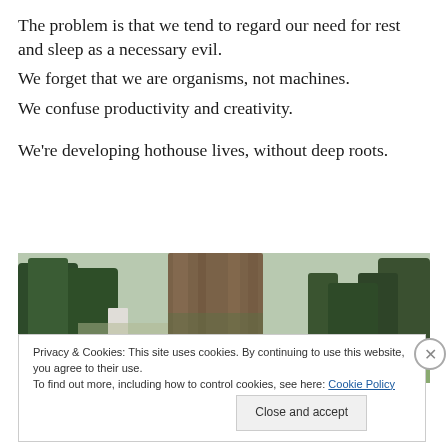The problem is that we tend to regard our need for rest and sleep as a necessary evil.
We forget that we are organisms, not machines.
We confuse productivity and creativity.
We're developing hothouse lives, without deep roots.
[Figure (photo): Photograph of a large ancient tree trunk with moss at the base, set in a park or garden landscape with other trees in the background.]
Privacy & Cookies: This site uses cookies. By continuing to use this website, you agree to their use.
To find out more, including how to control cookies, see here: Cookie Policy
Close and accept